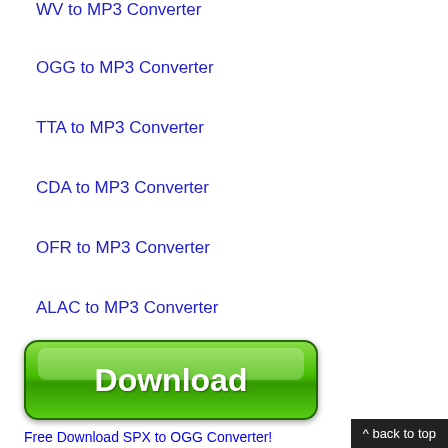WV to MP3 Converter
OGG to MP3 Converter
TTA to MP3 Converter
CDA to MP3 Converter
OFR to MP3 Converter
ALAC to MP3 Converter
[Figure (other): Green Download button with rounded corners and glossy effect]
Free Download SPX to OGG Converter!
^ back to top